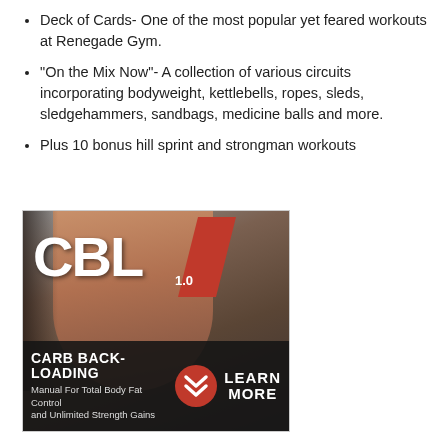Deck of Cards- One of the most popular yet feared workouts at Renegade Gym.
“On the Mix Now”- A collection of various circuits incorporating bodyweight, kettlebells, ropes, sleds, sledgehammers, sandbags, medicine balls and more.
Plus 10 bonus hill sprint and strongman workouts
[Figure (illustration): Advertisement for CBL 1.0 Carb Back-Loading product. Shows a muscular torso with CBL 1.0 text and a red slash graphic. Bottom band reads: CARB BACK-LOADING, Manual For Total Body Fat Control and Unlimited Strength Gains, with a red chevron button and LEARN MORE text.]